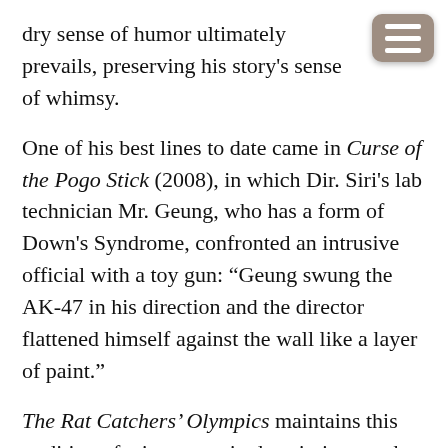dry sense of humor ultimately prevails, preserving his story's sense of whimsy.
One of his best lines to date came in Curse of the Pogo Stick (2008), in which Dir. Siri's lab technician Mr. Geung, who has a form of Down's Syndrome, confronted an intrusive official with a toy gun: “Geung swung the AK-47 in his direction and the director flattened himself against the wall like a layer of paint.”
The Rat Catchers’ Olympics maintains this tradition of witty prose in descriptions such as: “at a wooden desk sat a woman whose hair was pulled back into a bun so tight her eyes were where her ears should have been.”
From page one to the end of the story, Colin Cotterill is an author we can trust. His Dr. Siri Paiboun mysteries transport us back to a place and time where the pace is slower and